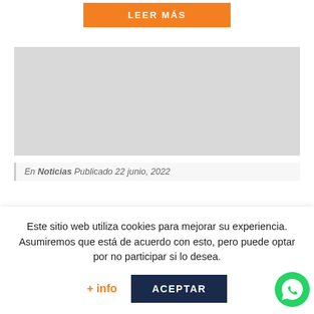[Figure (other): Orange 'LEER MAS' button at top center]
[Figure (other): Gray placeholder image box]
En Noticias Publicado 22 junio, 2022
Este sitio web utiliza cookies para mejorar su experiencia. Asumiremos que está de acuerdo con esto, pero puede optar por no participar si lo desea.
+ info
ACEPTAR